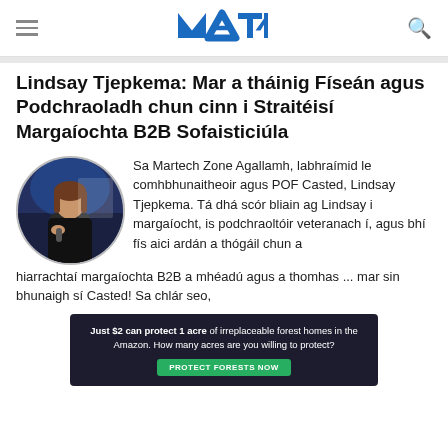MAZ (Martech Zone) navigation bar with hamburger menu, logo, and search icon
Lindsay Tjepkema: Mar a tháinig Físeán agus Podchraoladh chun cinn i Straitéisí Margaíochta B2B Sofaisticiúla
[Figure (photo): Circular headshot photo of Lindsay Tjepkema standing on stage with microphone]
Sa Martech Zone Agallamh, labhraímid le comhbhunaitheoir agus POF Casted, Lindsay Tjepkema. Tá dhá scór bliain ag Lindsay i margaíocht, is podchraoltóir veteranach í, agus bhí fís aici ardán a thógáil chun a hiarrachtaí margaíochta B2B a mhéadú agus a thomhas ... mar sin bhunaigh sí Casted! Sa chlár seo,
[Figure (other): Advertisement banner: Just $2 can protect 1 acre of irreplaceable forest homes in the Amazon. How many acres are you willing to protect? PROTECT FORESTS NOW]